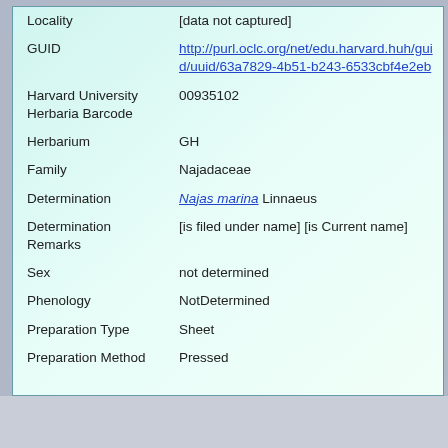| Field | Value |
| --- | --- |
| Locality | [data not captured] |
| GUID | http://purl.oclc.org/net/edu.harvard.huh/guid/uuid/63a7829-4b51-b243-6533cbf4e2eb |
| Harvard University Herbaria Barcode | 00935102 |
| Herbarium | GH |
| Family | Najadaceae |
| Determination | Najas marina Linnaeus |
| Determination Remarks | [is filed under name] [is Current name] |
| Sex | not determined |
| Phenology | NotDetermined |
| Preparation Type | Sheet |
| Preparation Method | Pressed |